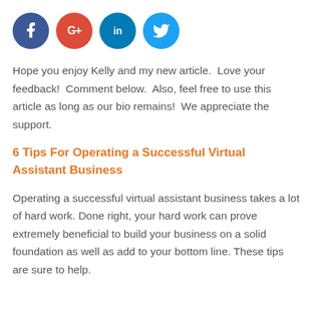[Figure (other): Four social media icon circles in a row: Facebook (dark blue, f), Google+ (red, G+), LinkedIn (teal, in), Twitter (light blue, bird icon)]
Hope you enjoy Kelly and my new article.  Love your feedback!  Comment below.  Also, feel free to use this article as long as our bio remains!  We appreciate the support.
6 Tips For Operating a Successful Virtual Assistant Business
Operating a successful virtual assistant business takes a lot of hard work. Done right, your hard work can prove extremely beneficial to build your business on a solid foundation as well as add to your bottom line. These tips are sure to help.